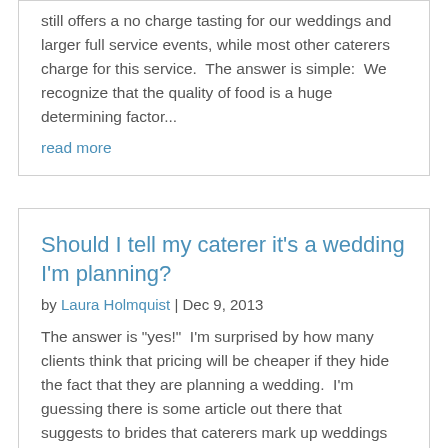still offers a no charge tasting for our weddings and larger full service events, while most other caterers charge for this service.  The answer is simple:  We recognize that the quality of food is a huge determining factor...
read more
Should I tell my caterer it's a wedding I'm planning?
by Laura Holmquist | Dec 9, 2013
The answer is "yes!"  I'm surprised by how many clients think that pricing will be cheaper if they hide the fact that they are planning a wedding.  I'm guessing there is some article out there that suggests to brides that caterers mark up weddings just for the heck of...
read more